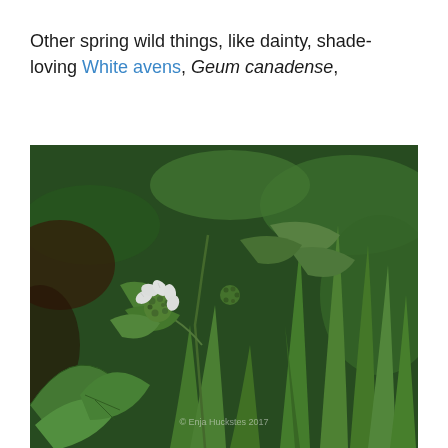Other spring wild things, like dainty, shade-loving White avens, Geum canadense,
[Figure (photo): Close-up photograph of White avens (Geum canadense) plant showing a small white flower with a green center/seedhead, surrounded by green leaves in a shaded woodland setting. Watermark reads '© Enja Huckstes 2017' in lower center.]